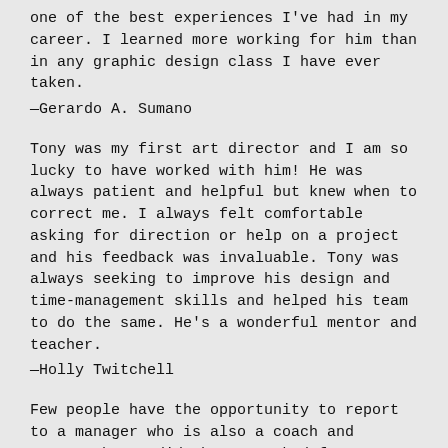one of the best experiences I've had in my career. I learned more working for him than in any graphic design class I have ever taken.
—Gerardo A. Sumano
Tony was my first art director and I am so lucky to have worked with him! He was always patient and helpful but knew when to correct me. I always felt comfortable asking for direction or help on a project and his feedback was invaluable. Tony was always seeking to improve his design and time-management skills and helped his team to do the same. He's a wonderful mentor and teacher.
—Holly Twitchell
Few people have the opportunity to report to a manager who is also a coach and mentor, but I did when I worked for Tony. I worked for Tony as a student designer for University Communications at BYU-Idaho for almost two years. During that time Tony exemplified concern over my growth as a designer and encouraged me to be creative and explore my different talents in the variety of projects our team was given. Tony also had the ability to help us learn where our talents were, and then taught us how to build them up.